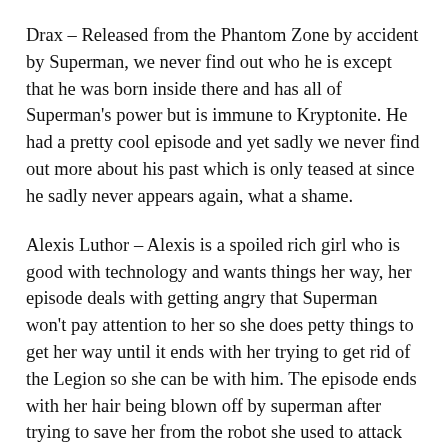Drax – Released from the Phantom Zone by accident by Superman, we never find out who he is except that he was born inside there and has all of Superman's power but is immune to Kryptonite. He had a pretty cool episode and yet sadly we never find out more about his past which is only teased at since he sadly never appears again, what a shame.
Alexis Luthor – Alexis is a spoiled rich girl who is good with technology and wants things her way, her episode deals with getting angry that Superman won't pay attention to her so she does petty things to get her way until it ends with her trying to get rid of the Legion so she can be with him. The episode ends with her hair being blown off by superman after trying to save her from the robot she used to attack the Legion and we see her planning her revenge from her jail cell. Yeah she's basically a girl kid version of Lex Luthor but that made her awesome in my eyes and sadly we never see her again save for a quick non-speaking cameo in a later episode. Why they never used her again boggles my mind